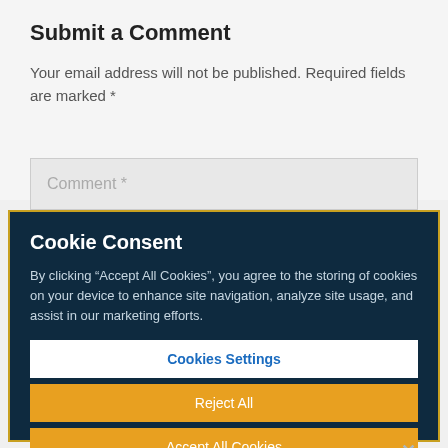Submit a Comment
Your email address will not be published. Required fields are marked *
Comment *
Cookie Consent
By clicking “Accept All Cookies”, you agree to the storing of cookies on your device to enhance site navigation, analyze site usage, and assist in our marketing efforts.
Cookies Settings
Reject All
Accept All Cookies